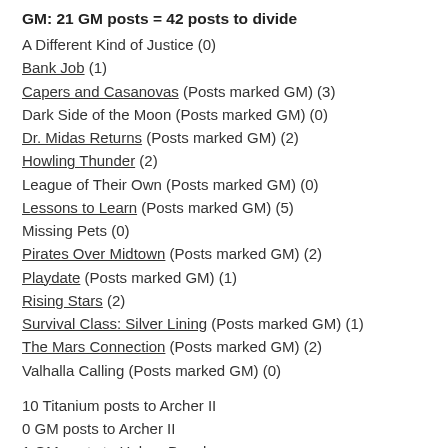GM: 21 GM posts = 42 posts to divide
A Different Kind of Justice (0)
Bank Job (1)
Capers and Casanovas (Posts marked GM) (3)
Dark Side of the Moon (Posts marked GM) (0)
Dr. Midas Returns (Posts marked GM) (2)
Howling Thunder (2)
League of Their Own (Posts marked GM) (0)
Lessons to Learn (Posts marked GM) (5)
Missing Pets (0)
Pirates Over Midtown (Posts marked GM) (2)
Playdate (Posts marked GM) (1)
Rising Stars (2)
Survival Class: Silver Lining (Posts marked GM) (1)
The Mars Connection (Posts marked GM) (2)
Valhalla Calling (Posts marked GM) (0)
10 Titanium posts to Archer II
0 GM posts to Archer II
1 GM posts to Holger Danske